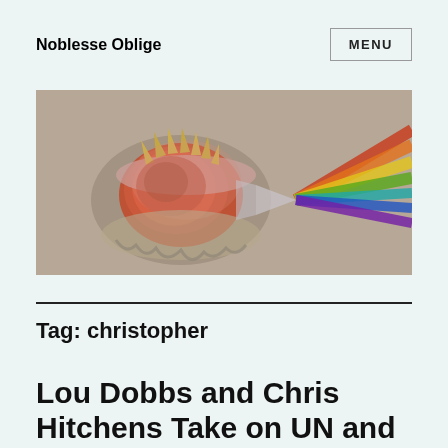Noblesse Oblige
MENU
[Figure (photo): A seashell-like organic form with pink and orange tones on the left, and a prismatic rainbow light spectrum on the right, on a muted beige background.]
Tag: christopher
Lou Dobbs and Chris Hitchens Take on UN and